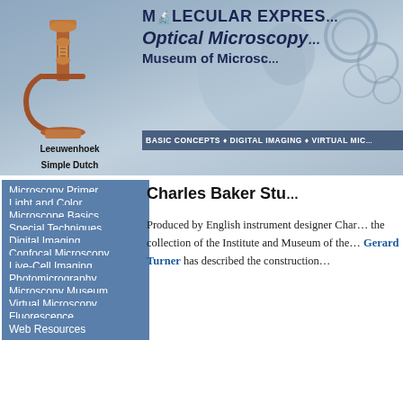[Figure (screenshot): Molecular Expressions Optical Microscopy Museum of Microscopy website header banner with blue gradient background and microscopy imagery]
[Figure (photo): Leeuwenhoek Simple Dutch Microscope circa 1670s - antique bronze/copper hand-held microscope]
Leeuwenhoek Simple Dutch Microscope (circa 1670s)
MOLECULAR EXPRES... Optical Microscopy Museum of Microscopy BASIC CONCEPTS • DIGITAL IMAGING • VIRTUAL MIC...
Microscopy Primer
Light and Color
Microscope Basics
Special Techniques
Digital Imaging
Confocal Microscopy
Live-Cell Imaging
Photomicrography
Microscopy Museum
Virtual Microscopy
Fluorescence
Web Resources
Charles Baker Stu...
Produced by English instrument designer Char... the collection of the Institute and Museum of the... Gerard Turner has described the construction...